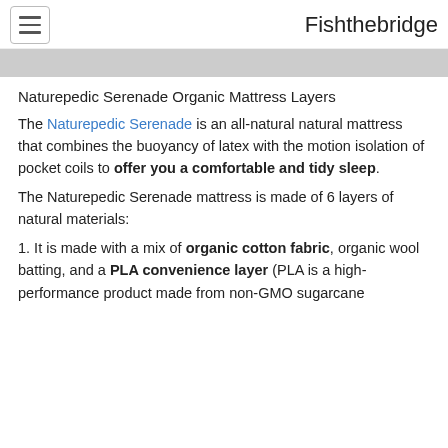Fishthebridge
[Figure (photo): Partial image strip showing a mattress or product image, appearing as a gray/light colored band.]
Naturepedic Serenade Organic Mattress Layers
The Naturepedic Serenade is an all-natural natural mattress that combines the buoyancy of latex with the motion isolation of pocket coils to offer you a comfortable and tidy sleep.
The Naturepedic Serenade mattress is made of 6 layers of natural materials:
1. It is made with a mix of organic cotton fabric, organic wool batting, and a PLA convenience layer (PLA is a high-performance product made from non-GMO sugarcane